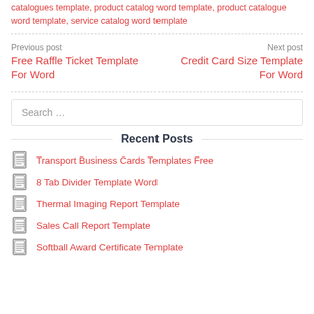catalogues template, product catalog word template, product catalogue word template, service catalog word template
Previous post
Free Raffle Ticket Template For Word
Next post
Credit Card Size Template For Word
Search …
Recent Posts
Transport Business Cards Templates Free
8 Tab Divider Template Word
Thermal Imaging Report Template
Sales Call Report Template
Softball Award Certificate Template